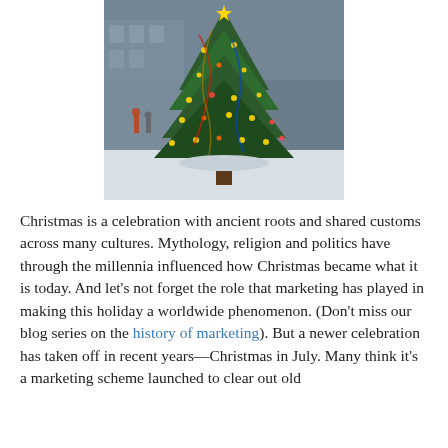[Figure (photo): A decorated Christmas tree with colorful lights and ribbons, outdoors in a snowy setting with a building in the background.]
Christmas is a celebration with ancient roots and shared customs across many cultures. Mythology, religion and politics have through the millennia influenced how Christmas became what it is today. And let’s not forget the role that marketing has played in making this holiday a worldwide phenomenon. (Don't miss our blog series on the history of marketing). But a newer celebration has taken off in recent years—Christmas in July. Many think it’s a marketing scheme launched to clear out old